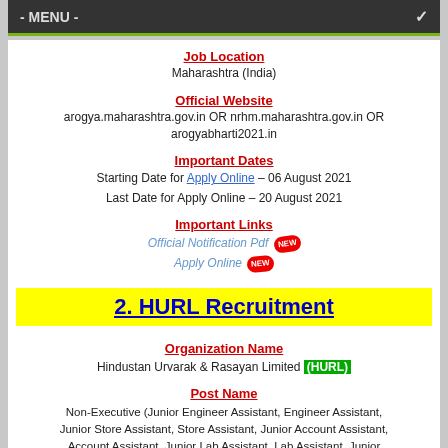- MENU -
Job Location
Maharashtra (India)
Official Website
arogya.maharashtra.gov.in OR nrhm.maharashtra.gov.in OR arogyabharti2021.in
Important Dates
Starting Date for Apply Online – 06 August 2021
Last Date for Apply Online – 20 August 2021
Important Links
Official Notification Pdf [NEW]
Apply Online [NEW]
2. HURL Recruitment
Organization Name
Hindustan Urvarak & Rasayan Limited (HURL)
Post Name
Non-Executive (Junior Engineer Assistant, Engineer Assistant, Junior Store Assistant, Store Assistant, Junior Account Assistant, Account Assistant, Junior Lab Assistant, Lab Assistant, Junior